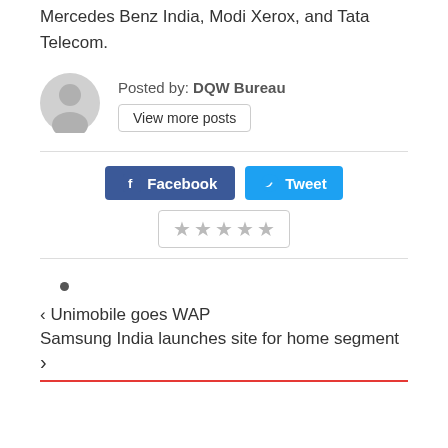Mercedes Benz India, Modi Xerox, and Tata Telecom.
Posted by: DQW Bureau
View more posts
[Figure (illustration): Gray avatar/profile icon placeholder]
Facebook
Tweet
[Figure (other): Five empty star rating widget in a bordered box]
< Unimobile goes WAP
Samsung India launches site for home segment >